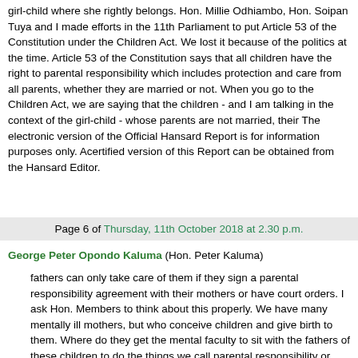girl-child where she rightly belongs. Hon. Millie Odhiambo, Hon. Soipan Tuya and I made efforts in the 11th Parliament to put Article 53 of the Constitution under the Children Act. We lost it because of the politics at the time. Article 53 of the Constitution says that all children have the right to parental responsibility which includes protection and care from all parents, whether they are married or not. When you go to the Children Act, we are saying that the children - and I am talking in the context of the girl-child - whose parents are not married, their The electronic version of the Official Hansard Report is for information purposes only. Acertified version of this Report can be obtained from the Hansard Editor.
Page 6 of Thursday, 11th October 2018 at 2.30 p.m.
George Peter Opondo Kaluma (Hon. Peter Kaluma) fathers can only take care of them if they sign a parental responsibility agreement with their mothers or have court orders. I ask Hon. Members to think about this properly. We have many mentally ill mothers, but who conceive children and give birth to them. Where do they get the mental faculty to sit with the fathers of these children to do the things we call parental responsibility or agreements or go to court against their fathers? I am saying